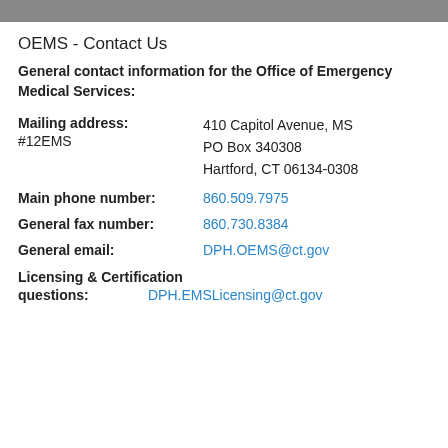OEMS - Contact Us
General contact information for the Office of Emergency Medical Services:
Mailing address: 410 Capitol Avenue, MS #12EMS
PO Box 340308
Hartford, CT 06134-0308
Main phone number: 860.509.7975
General fax number: 860.730.8384
General email: DPH.OEMS@ct.gov
Licensing & Certification questions: DPH.EMSLicensing@ct.gov